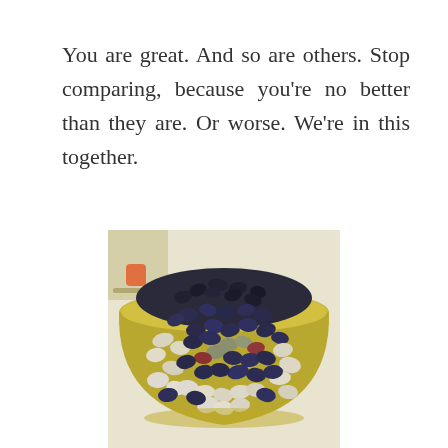You are great. And so are others. Stop comparing, because you're no better than they are. Or worse. We're in this together.
[Figure (photo): A bowl (yellowish/golden rim) filled with a large mound of mixed dried beans of various colors — black, dark navy, cream, white, mottled, and red — viewed from slightly above. A small decorative image or label is partially visible in the upper-left background behind the bowl.]